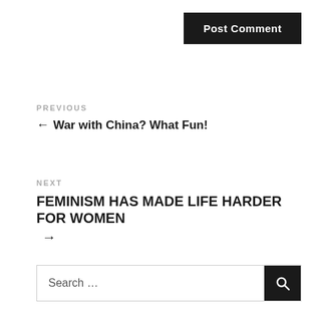Post Comment
PREVIOUS
← War with China? What Fun!
NEXT
FEMINISM HAS MADE LIFE HARDER FOR WOMEN →
Search ...